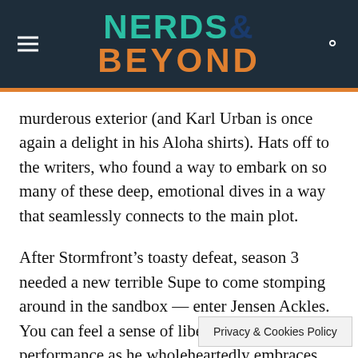NERDS& BEYOND
murderous exterior (and Karl Urban is once again a delight in his Aloha shirts). Hats off to the writers, who found a way to embark on so many of these deep, emotional dives in a way that seamlessly connects to the main plot.
After Stormfront’s toasty defeat, season 3 needed a new terrible Supe to come stomping around in the sandbox — enter Jensen Ackles. You can feel a sense of liberation in Ackles’ performance as he wholeheartedly embraces the opportunity to step into the role of a nefa…ing far
Privacy & Cookies Policy